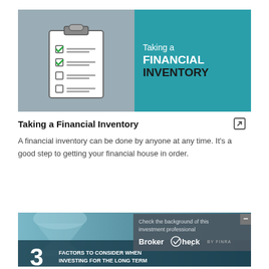[Figure (illustration): Banner image showing a clipboard with checklist on left (gray background) and teal panel on right with text: Taking a FINANCIAL INVENTORY]
Taking a Financial Inventory
A financial inventory can be done by anyone at any time. It's a good step to getting your financial house in order.
[Figure (photo): Partial banner image with hourglass on teal/dark background with text: 3 FACTORS TO CONSIDER WHEN INVESTING FOR THE LONG TERM, overlaid by BrokerCheck popup from FINRA]